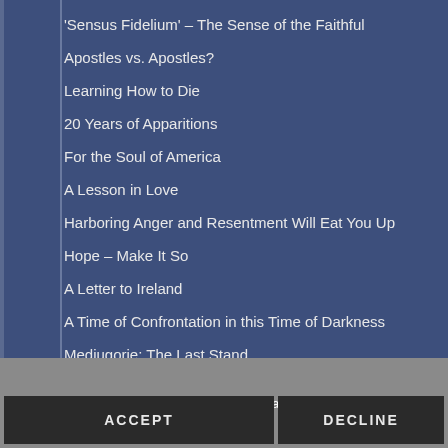‘Sensus Fidelium’ – The Sense of the Faithful
Apostles vs. Apostles?
Learning How to Die
20 Years of Apparitions
For the Soul of America
A Lesson in Love
Harboring Anger and Resentment Will Eat You Up
Hope – Make It So
A Letter to Ireland
A Time of Confrontation in this Time of Darkness
Medjugorje: The Last Stand
This website uses cookies to ensure an ideal experience.
ACCEPT
DECLINE